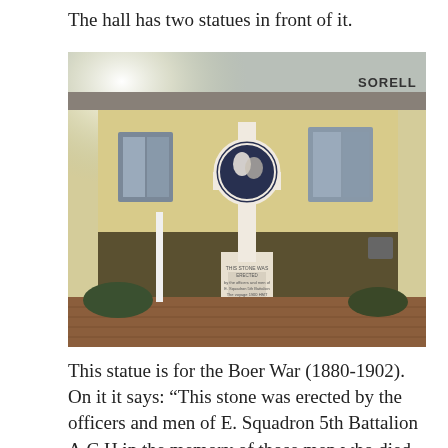The hall has two statues in front of it.
[Figure (photo): Photograph of a white memorial cross statue with a circular emblem, standing on a plinth with an inscription, in front of a yellow building with a sign reading 'SORELL'. The surroundings include a brick courtyard and some shrubs.]
This statue is for the Boer War (1880-1902). On it it says: “This stone was erected by the officers and men of E. Squadron 5th Battalion A.C.H in the memory of those men who died at sea during the voyage of HMT Drayton Grange from South Africa to Australia.”